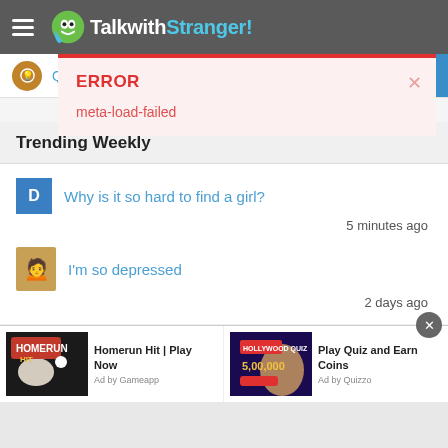TalkwithStranger!
Questions & A
ERROR
meta-load-failed
Trending Weekly
Why is it so hard to find a girl?
5 minutes ago
I'm so depressed
2 days ago
Homerun Hit | Play Now
Ad by Gameapp
Play Quiz and Earn Coins
Ad by Quizzo